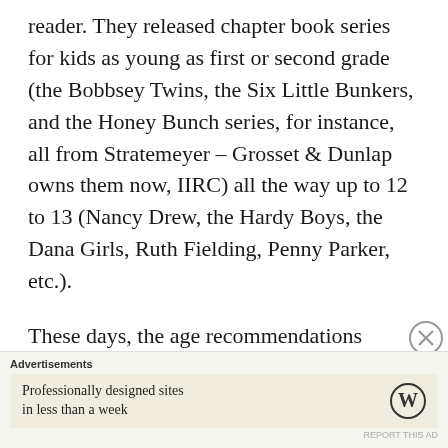reader. They released chapter book series for kids as young as first or second grade (the Bobbsey Twins, the Six Little Bunkers, and the Honey Bunch series, for instance, all from Stratemeyer – Grosset & Dunlap owns them now, IIRC) all the way up to 12 to 13 (Nancy Drew, the Hardy Boys, the Dana Girls, Ruth Fielding, Penny Parker, etc.).
These days, the age recommendations have more to do
[Figure (other): Close/dismiss button (circled X icon)]
Advertisements
Professionally designed sites in less than a week